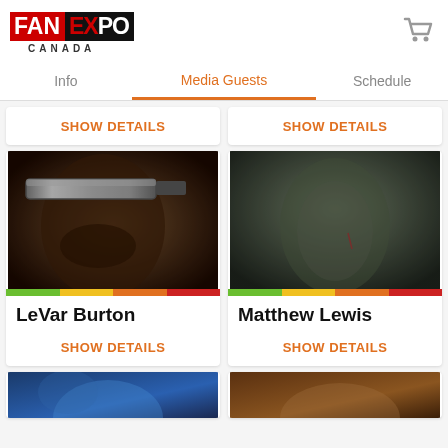[Figure (logo): Fan Expo Canada logo — FAN in red box, EXPO in black box with X in red, CANADA in spaced letters below]
Cart icon
Info | Media Guests | Schedule
SHOW DETAILS
SHOW DETAILS
[Figure (photo): LeVar Burton wearing a visor, Star Trek character]
[Figure (photo): Matthew Lewis actor looking upward with scratches on face]
LeVar Burton
Matthew Lewis
SHOW DETAILS
SHOW DETAILS
[Figure (photo): Partial photo left — blue tones, bottom of page]
[Figure (photo): Partial photo right — brown tones, bottom of page]